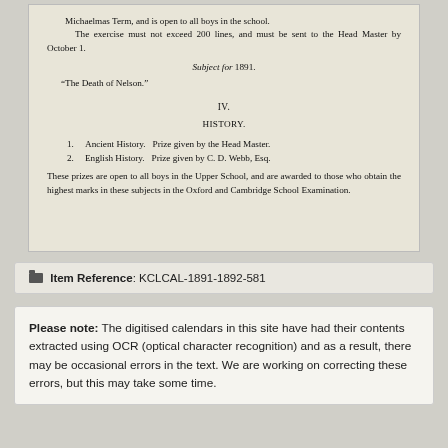Michaelmas Term, and is open to all boys in the school.
The exercise must not exceed 200 lines, and must be sent to the Head Master by October 1.
Subject for 1891.
"The Death of Nelson."
IV.
HISTORY.
1. Ancient History. Prize given by the Head Master.
2. English History. Prize given by C. D. Webb, Esq.
These prizes are open to all boys in the Upper School, and are awarded to those who obtain the highest marks in these subjects in the Oxford and Cambridge School Examination.
Item Reference: KCLCAL-1891-1892-581
Please note: The digitised calendars in this site have had their contents extracted using OCR (optical character recognition) and as a result, there may be occasional errors in the text. We are working on correcting these errors, but this may take some time.